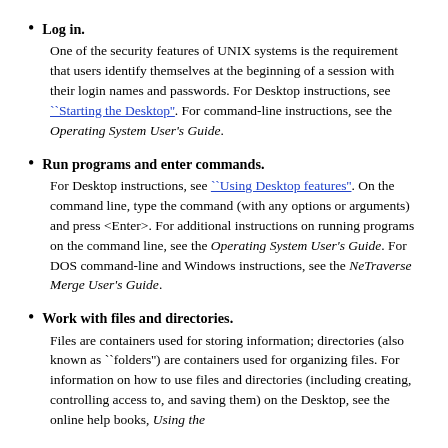Log in. One of the security features of UNIX systems is the requirement that users identify themselves at the beginning of a session with their login names and passwords. For Desktop instructions, see ``Starting the Desktop''. For command-line instructions, see the Operating System User's Guide.
Run programs and enter commands. For Desktop instructions, see ``Using Desktop features''. On the command line, type the command (with any options or arguments) and press <Enter>. For additional instructions on running programs on the command line, see the Operating System User's Guide. For DOS command-line and Windows instructions, see the NeTraverse Merge User's Guide.
Work with files and directories. Files are containers used for storing information; directories (also known as ``folders'') are containers used for organizing files. For information on how to use files and directories (including creating, controlling access to, and saving them) on the Desktop, see the online help books, Using the